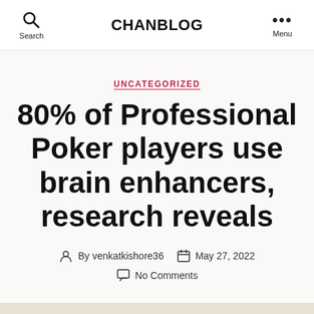CHANBLOG
UNCATEGORIZED
80% of Professional Poker players use brain enhancers, research reveals
By venkatkishore36  May 27, 2022  No Comments